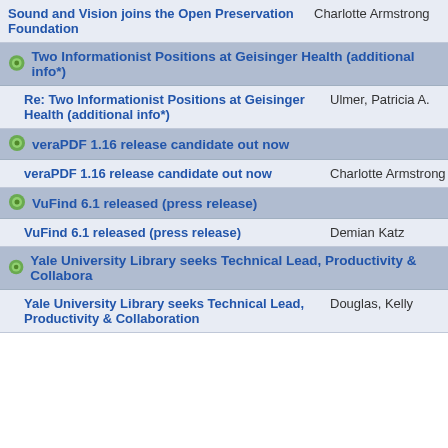Sound and Vision joins the Open Preservation Foundation | Charlotte Armstrong | Thu, 13 Feb 2
Two Informationist Positions at Geisinger Health (additional info*)
Re: Two Informationist Positions at Geisinger Health (additional info*) | Ulmer, Patricia A. | Fri, 28 Feb 20
veraPDF 1.16 release candidate out now
veraPDF 1.16 release candidate out now | Charlotte Armstrong | Thu, 20 Feb 2
VuFind 6.1 released (press release)
VuFind 6.1 released (press release) | Demian Katz | Mon, 3 Feb 20
Yale University Library seeks Technical Lead, Productivity & Collabora
Yale University Library seeks Technical Lead, Productivity & Collaboration | Douglas, Kelly | Tue, 4 Feb 20